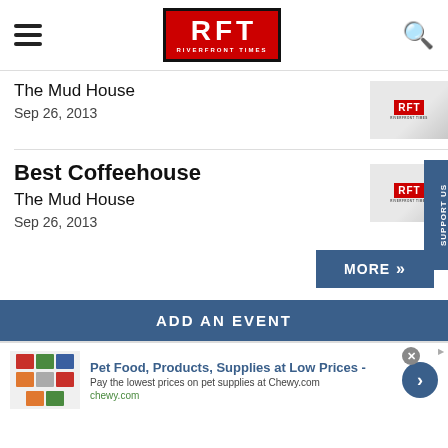RFT RIVERFRONT TIMES
The Mud House
Sep 26, 2013
Best Coffeehouse
The Mud House
Sep 26, 2013
MORE »
ADD AN EVENT
Pet Food, Products, Supplies at Low Prices - Pay the lowest prices on pet supplies at Chewy.com chewy.com